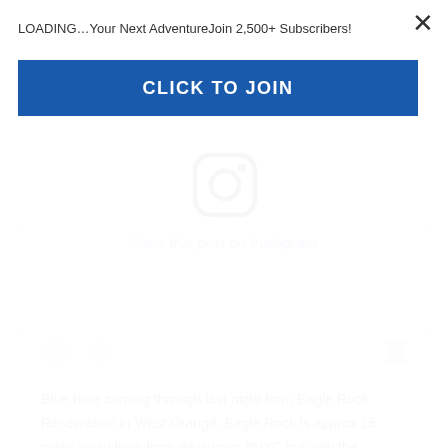LOADING…Your Next AdventureJoin 2,500+ Subscribers!
CLICK TO JOIN
[Figure (logo): Instagram logo icon (rounded square with circle and dot)]
View this post on Instagram
Blue hour coming through last night from Eagle Rock Reservation in West Orange. Eagle Rock is approx 15 miles away from from downtown #NYC but with the @nikonusa 200-500mm the city looks